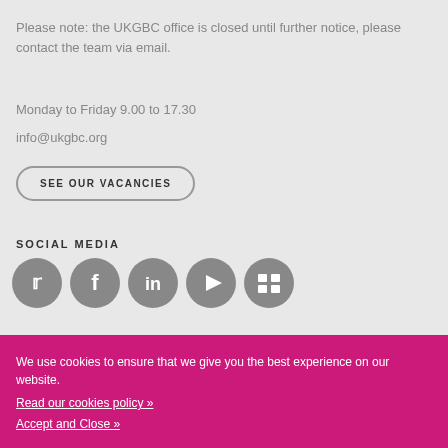Please note: the UKGBC office is closed until further notice, please contact the team via email.
Monday to Friday 9.00 to 17.30
info@ukgbc.org
SEE OUR VACANCIES
SOCIAL MEDIA
[Figure (infographic): Five social media icons in grey circles: Twitter, Facebook, LinkedIn, YouTube, and a grid/news icon]
We use cookies to ensure that we give you the best experience on our website.
Read our cookies policy »
Accept and Close »